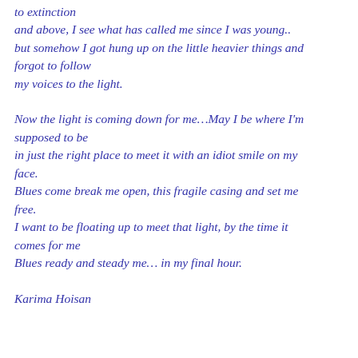to extinction
and above, I see what has called me since I was young..
but somehow I got hung up on the little heavier things and forgot to follow
my voices to the light.
Now the light is coming down for me…May I be where I'm supposed to be
in just the right place to meet it with an idiot smile on my face.
Blues come break me open, this fragile casing and set me free.
I want to be floating up to meet that light, by the time it comes for me
Blues ready and steady me… in my final hour.
Karima Hoisan